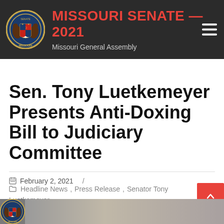MISSOURI SENATE — 2021 | Missouri General Assembly
Sen. Tony Luetkemeyer Presents Anti-Doxing Bill to Judiciary Committee
February 2, 2021 / Headline News, Press Release, Senator Tony Luetkemeyer
[Figure (photo): Bottom image strip showing Missouri seal and people in committee setting]